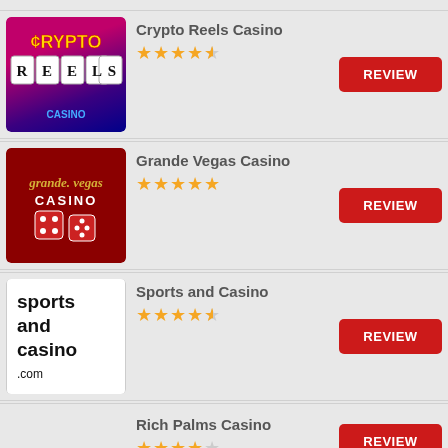Crypto Reels Casino — 4.5 stars — REVIEW
Grande Vegas Casino — 5 stars — REVIEW
Sports and Casino — 4.5 stars — REVIEW
Rich Palms Casino — 4 stars — REVIEW